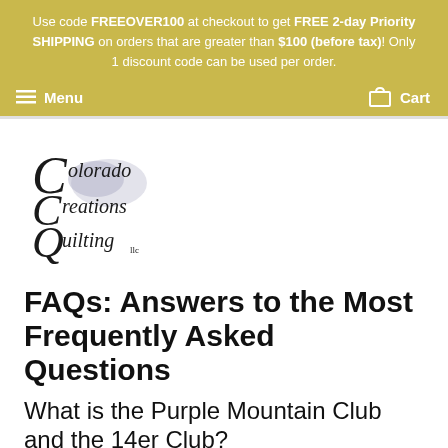Use code FREEOVER100 at checkout to get FREE 2-day Priority SHIPPING on orders that are greater than $100 (before tax)! Only 1 discount code can be used per order.
Menu   Cart
[Figure (logo): Colorado Creations Quilting LLC logo with decorative script text and mountain/flower imagery]
FAQs: Answers to the Most Frequently Asked Questions
What is the Purple Mountain Club and the 14er Club?